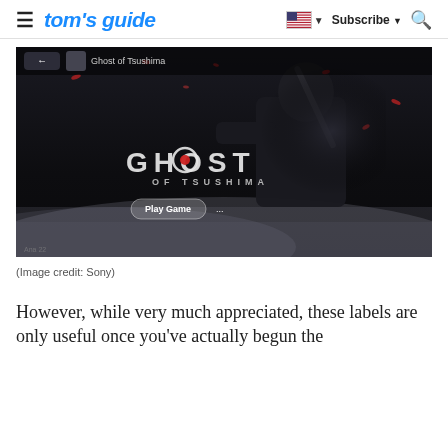tom's guide — Subscribe
[Figure (screenshot): Ghost of Tsushima game screen shown on PS5 UI, featuring a samurai warrior in dark armor with a sword, standing against a dark atmospheric background with falling petals. Game title 'GHOST OF TSUSHIMA' is displayed with a 'Play Game' button.]
(Image credit: Sony)
However, while very much appreciated, these labels are only useful once you've actually begun the